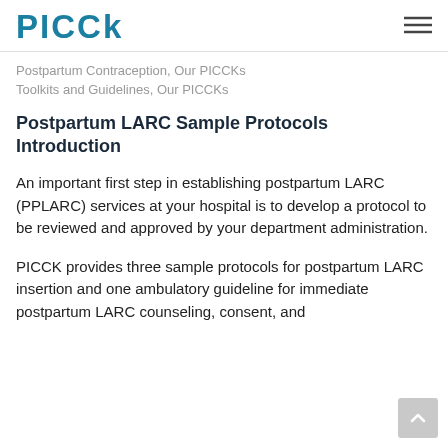PICCK
Postpartum Contraception, Our PICCKs Toolkits and Guidelines, Our PICCKs
Postpartum LARC Sample Protocols Introduction
An important first step in establishing postpartum LARC (PPLARC) services at your hospital is to develop a protocol to be reviewed and approved by your department administration.
PICCK provides three sample protocols for postpartum LARC insertion and one ambulatory guideline for immediate postpartum LARC counseling, consent, and